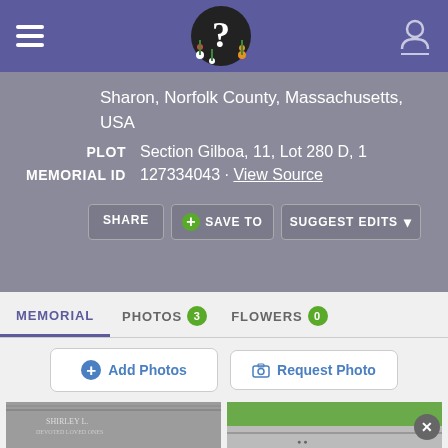FindAGrave memorial page header with navigation
Sharon, Norfolk County, Massachusetts, USA
PLOT  Section Gilboa, 11, Lot 280 D, 1
MEMORIAL ID  127334043 · View Source
SHARE  SAVE TO  SUGGEST EDITS
MEMORIAL  PHOTOS 3  FLOWERS 0
Add Photos  Request Photo
[Figure (photo): Gravestone photo showing 'SHIRLEY L.' text]
[Figure (photo): Gravestone photo showing a grave marker with grass]